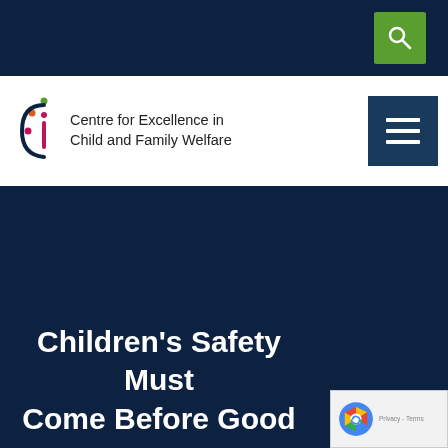[Figure (logo): Centre for Excellence in Child and Family Welfare logo with stylized C and i letters in pink and green dots]
Children's Safety Must Come Before Good